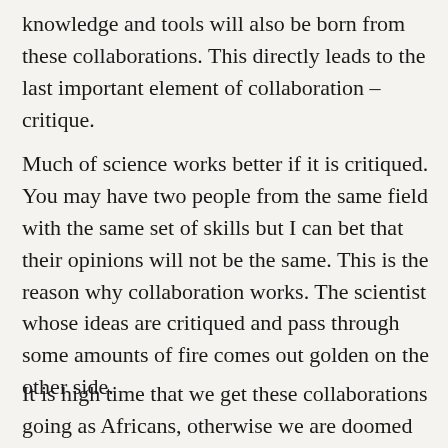knowledge and tools will also be born from these collaborations. This directly leads to the last important element of collaboration – critique.
Much of science works better if it is critiqued. You may have two people from the same field with the same set of skills but I can bet that their opinions will not be the same. This is the reason why collaboration works. The scientist whose ideas are critiqued and pass through some amounts of fire comes out golden on the other side.
It is high time that we get these collaborations going as Africans, otherwise we are doomed to stay where we are, to always wish we had the recognition from